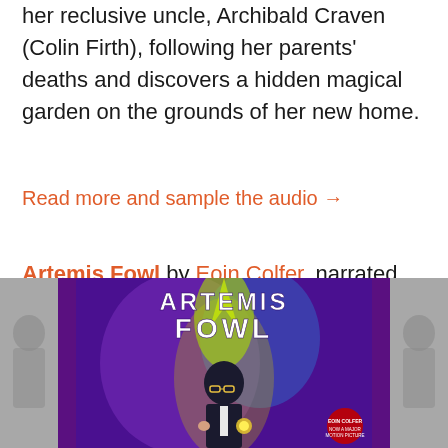her reclusive uncle, Archibald Craven (Colin Firth), following her parents' deaths and discovers a hidden magical garden on the grounds of her new home.
Read more and sample the audio →
Artemis Fowl by Eoin Colfer, narrated by Nathaniel Parker
Expected release date: May 29
[Figure (photo): Book cover of Artemis Fowl showing a young boy in a suit with glasses against a purple/blue magical background, with the title 'ARTEMIS FOWL' in large white letters. Flanked by gray decorative panels on left and right.]